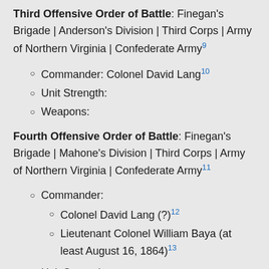Third Offensive Order of Battle: Finegan's Brigade | Anderson's Division | Third Corps | Army of Northern Virginia | Confederate Army[9]
Commander: Colonel David Lang[10]
Unit Strength:
Weapons:
Fourth Offensive Order of Battle: Finegan's Brigade | Mahone's Division | Third Corps | Army of Northern Virginia | Confederate Army[11]
Commander:
Colonel David Lang (?)[12]
Lieutenant Colonel William Baya (at least August 16, 1864)[13]
Unit Strength: